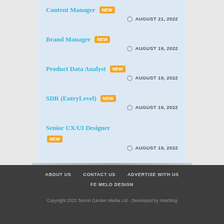Content Manager NEW — AUGUST 21, 2022
Brand Manager NEW — AUGUST 19, 2022
Product Data Analyst NEW — AUGUST 19, 2022
SDR (EntryLevel) NEW — AUGUST 19, 2022
Senior UX/UI Designer NEW — AUGUST 19, 2022
ABOUT US   CONTACT US   ADVERTISE WITH US   FE MELO DESIGN
Copyright 2022 Secret Garden Media Ltd - Developed by Interblog